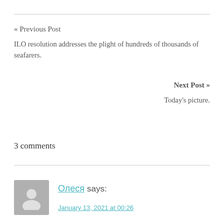« Previous Post
ILO resolution addresses the plight of hundreds of thousands of seafarers.
Next Post »
Today's picture.
3 comments
Олеся says:
January 13, 2021 at 00:26